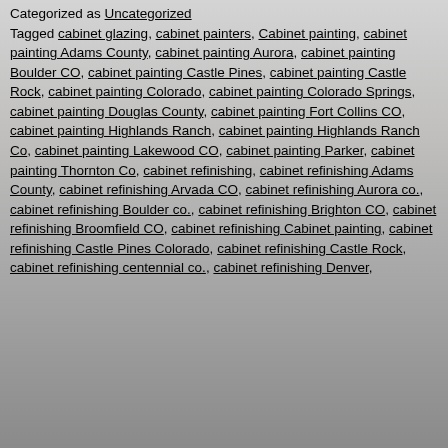Categorized as Uncategorized
Tagged cabinet glazing, cabinet painters, Cabinet painting, cabinet painting Adams County, cabinet painting Aurora, cabinet painting Boulder CO, cabinet painting Castle Pines, cabinet painting Castle Rock, cabinet painting Colorado, cabinet painting Colorado Springs, cabinet painting Douglas County, cabinet painting Fort Collins CO, cabinet painting Highlands Ranch, cabinet painting Highlands Ranch Co, cabinet painting Lakewood CO, cabinet painting Parker, cabinet painting Thornton Co, cabinet refinishing, cabinet refinishing Adams County, cabinet refinishing Arvada CO, cabinet refinishing Aurora co., cabinet refinishing Boulder co., cabinet refinishing Brighton CO, cabinet refinishing Broomfield CO, cabinet refinishing Cabinet painting, cabinet refinishing Castle Pines Colorado, cabinet refinishing Castle Rock, cabinet refinishing centennial co., cabinet refinishing Denver,